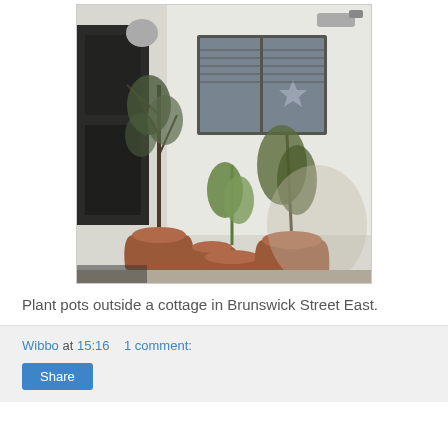[Figure (photo): Photograph of terracotta plant pots with plants outside a white cottage in Brunswick Street East. Three large terracotta pots and two smaller ones are arranged on a pavement in front of a white-walled building with a window. A dark door is visible on the left.]
Plant pots outside a cottage in Brunswick Street East.
Wibbo at 15:16    1 comment:
Share